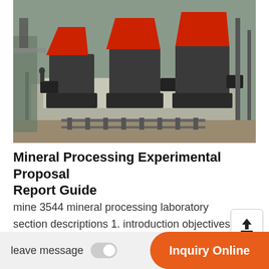[Figure (photo): Aerial/overhead view of industrial mineral processing machinery — three large cone crushers with red-orange hoppers mounted on a concrete platform at a mining site, with a worker visible in the background.]
Mineral Processing Experimental Proposal Report Guide
mine 3544 mineral processing laboratory section descriptions 1. introduction objectives a. purpose th… section should describe the technical merit of the proposed work. it needs to explain any relevant